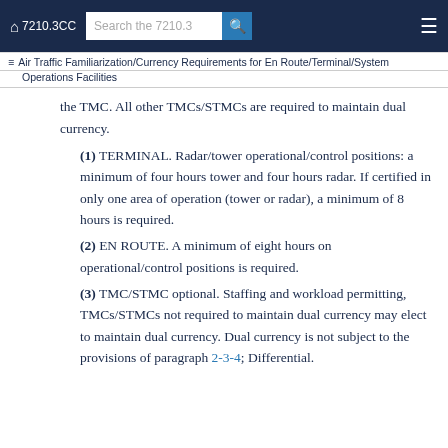⌂ 7210.3CC   [Search the 7210.3]
≡ Air Traffic Familiarization/Currency Requirements for En Route/Terminal/System Operations Facilities
the TMC. All other TMCs/STMCs are required to maintain dual currency.
(1) TERMINAL. Radar/tower operational/control positions: a minimum of four hours tower and four hours radar. If certified in only one area of operation (tower or radar), a minimum of 8 hours is required.
(2) EN ROUTE. A minimum of eight hours on operational/control positions is required.
(3) TMC/STMC optional. Staffing and workload permitting, TMCs/STMCs not required to maintain dual currency may elect to maintain dual currency. Dual currency is not subject to the provisions of paragraph 2-3-4; Differential.